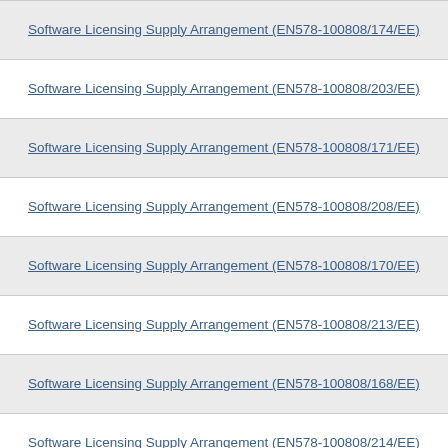Software Licensing Supply Arrangement (EN578-100808/174/EE)
Software Licensing Supply Arrangement (EN578-100808/203/EE)
Software Licensing Supply Arrangement (EN578-100808/171/EE)
Software Licensing Supply Arrangement (EN578-100808/208/EE)
Software Licensing Supply Arrangement (EN578-100808/170/EE)
Software Licensing Supply Arrangement (EN578-100808/213/EE)
Software Licensing Supply Arrangement (EN578-100808/168/EE)
Software Licensing Supply Arrangement (EN578-100808/214/EE)
Software Licensing Supply Arrangement (EN578-100808/136/EE)